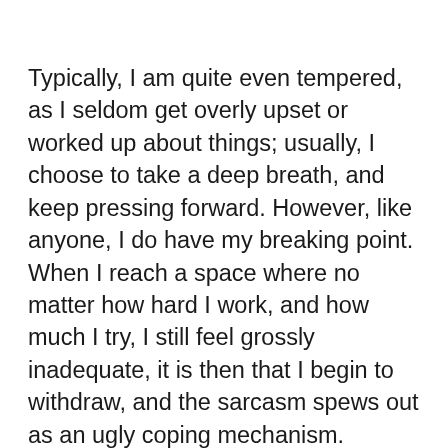Typically, I am quite even tempered, as I seldom get overly upset or worked up about things; usually, I choose to take a deep breath, and keep pressing forward. However, like anyone, I do have my breaking point. When I reach a space where no matter how hard I work, and how much I try, I still feel grossly inadequate, it is then that I begin to withdraw, and the sarcasm spews out as an ugly coping mechanism. Thankfully, my Viking is kind and compassionate to me. He sees me wherever I am, and grants grace and extends love, with some humor, in a way that helps pull me out of my place of frustration and back into a space